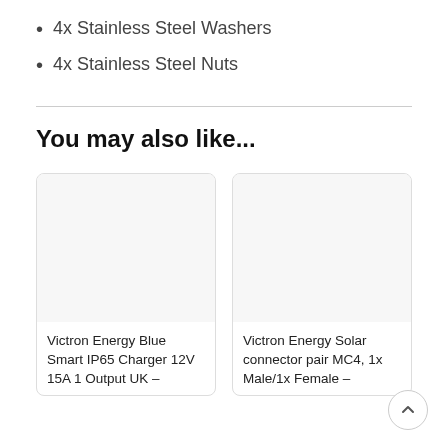4x Stainless Steel Washers
4x Stainless Steel Nuts
You may also like...
[Figure (photo): Product card image placeholder for Victron Energy Blue Smart IP65 Charger 12V 15A 1 Output UK]
Victron Energy Blue Smart IP65 Charger 12V 15A 1 Output UK –
[Figure (photo): Product card image placeholder for Victron Energy Solar connector pair MC4, 1x Male/1x Female]
Victron Energy Solar connector pair MC4, 1x Male/1x Female –